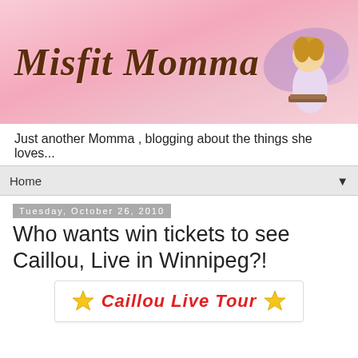[Figure (illustration): Pink banner with cursive 'Misfit Momma' title in brown and a fairy/angel figure on the right side]
Just another Momma , blogging about the things she loves...
Home ▼
Tuesday, October 26, 2010
Who wants win tickets to see Caillou, Live in Winnipeg?!
[Figure (logo): Caillou Live Tour logo with red italic text and gold star icons on either side, white background with border]